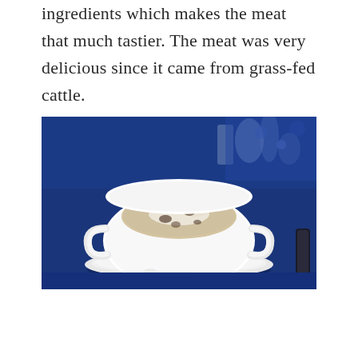ingredients which makes the meat that much tastier. The meat was very delicious since it came from grass-fed cattle.
[Figure (photo): A white ceramic soup bowl with handles sitting on a white saucer on a blue tablecloth. The bowl contains a creamy soup with visible toppings. A small white spoon rests on the saucer. Background shows a blurred restaurant table setting.]